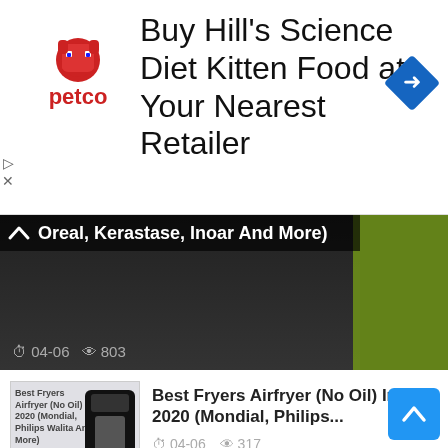[Figure (advertisement): Petco advertisement banner: 'Buy Hill's Science Diet Kitten Food at Your Nearest Retailer' with Petco logo and navigation arrow icon]
[Figure (screenshot): Dark video thumbnail with text 'Oreal, Kerastase, Inoar And More)' and metadata: date 04-06, views 803, green object visible on right]
[Figure (photo): Thumbnail for Best Fryers Airfryer article showing black air fryer appliance]
Best Fryers Airfryer (No Oil) In 2020 (Mondial, Philips...
04-06   317
[Figure (photo): Thumbnail for Best Shampoos Anticaspa showing shampoo bottles]
Best Shampoos Anticaspa
04-06   276
Top 10 Best Playing Cards